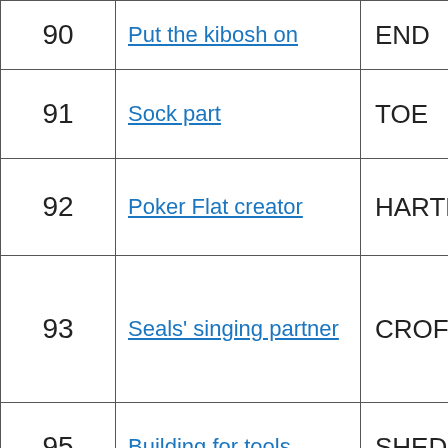| # | Clue | Answer |
| --- | --- | --- |
| 90 | Put the kibosh on | END |
| 91 | Sock part | TOE |
| 92 | Poker Flat creator | HARTE |
| 93 | Seals' singing partner | CROFTS |
| 95 | Building for tools | SHED |
| 97 | Selected classic VWs at an online auction? | CLICKED BEETLES |